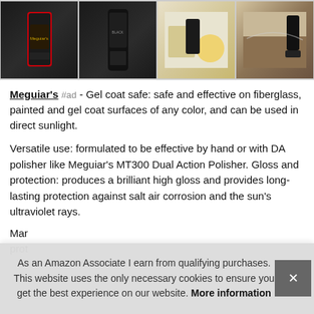[Figure (photo): Row of four product images showing Meguiar's car wax/polish products: first two show black bottles on white background, third shows product with applicator pads, fourth shows product being applied to a surface]
Meguiar's #ad - Gel coat safe: safe and effective on fiberglass, painted and gel coat surfaces of any color, and can be used in direct sunlight.
Versatile use: formulated to be effective by hand or with DA polisher like Meguiar's MT300 Dual Action Polisher. Gloss and protection: produces a brilliant high gloss and provides long-lasting protection against salt air corrosion and the sun's ultraviolet rays.
Mar prot
As an Amazon Associate I earn from qualifying purchases. This website uses the only necessary cookies to ensure you get the best experience on our website. More information